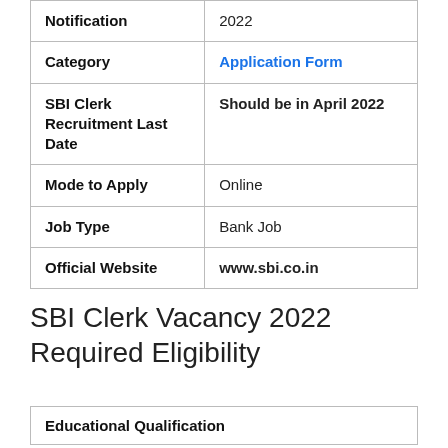| Category | Details |
| --- | --- |
| Notification | 2022 |
| Category | Application Form |
| SBI Clerk Recruitment Last Date | Should be in April 2022 |
| Mode to Apply | Online |
| Job Type | Bank Job |
| Official Website | www.sbi.co.in |
SBI Clerk Vacancy 2022 Required Eligibility
| Educational Qualification |
| --- |